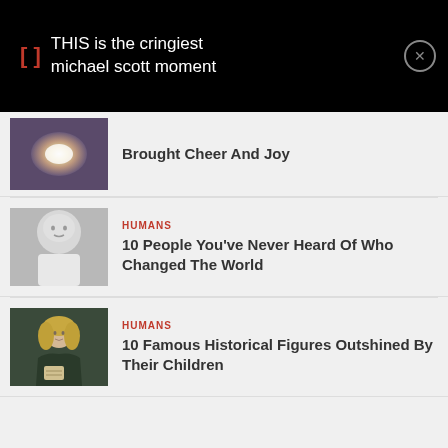[] THIS is the cringiest michael scott moment
[Figure (photo): Glowing light burst image thumbnail]
Brought Cheer And Joy
[Figure (photo): Black and white photo of a bald man in a tuxedo]
HUMANS
10 People You've Never Heard Of Who Changed The World
[Figure (photo): Painting of a historical woman with blonde hair]
HUMANS
10 Famous Historical Figures Outshined By Their Children